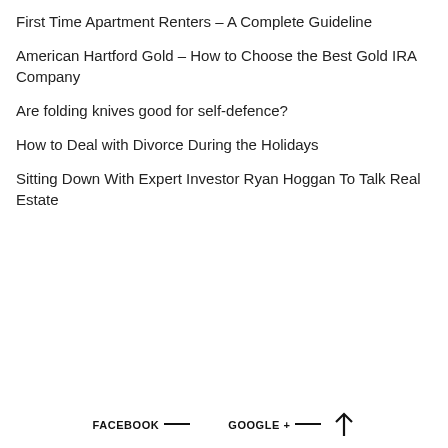First Time Apartment Renters – A Complete Guideline
American Hartford Gold – How to Choose the Best Gold IRA Company
Are folding knives good for self-defence?
How to Deal with Divorce During the Holidays
Sitting Down With Expert Investor Ryan Hoggan To Talk Real Estate
FACEBOOK —   GOOGLE + —  ↑